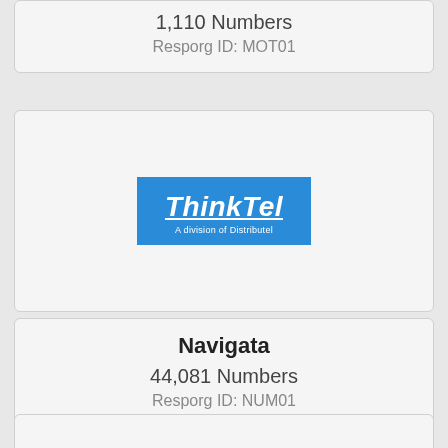1,110 Numbers
Resporg ID: MOT01
[Figure (logo): ThinkTel logo — blue rectangle with white italic bold underlined text 'ThinkTel' and smaller text 'A division of Distributel' below]
Navigata
44,081 Numbers
Resporg ID: NUM01